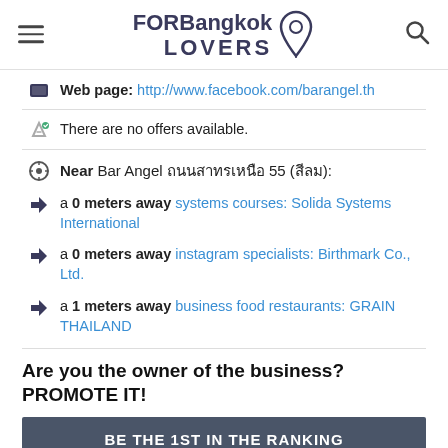FORBangkok LOVERS
Web page: http://www.facebook.com/barangel.th
There are no offers available.
Near Bar Angel ถนนสาทรเหนือ 55 (สีลม):
a 0 meters away systems courses: Solida Systems International
a 0 meters away instagram specialists: Birthmark Co., Ltd.
a 1 meters away business food restaurants: GRAIN THAILAND
Are you the owner of the business? PROMOTE IT!
BE THE 1ST IN THE RANKING